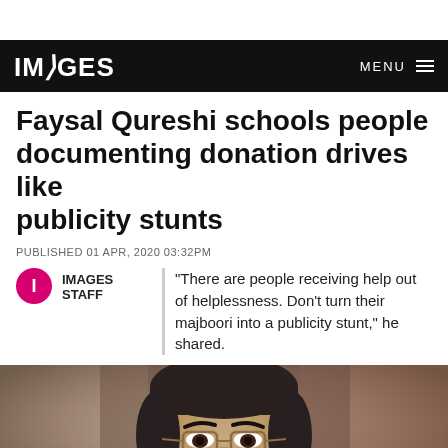IMAGES   MENU
Faysal Qureshi schools people documenting donation drives like publicity stunts
PUBLISHED 01 APR, 2020 03:32PM
IMAGES STAFF
"There are people receiving help out of helplessness. Don't turn their majboori into a publicity stunt," he shared.
[Figure (photo): Close-up photo of Faysal Qureshi, a man with dark hair and glasses, looking with a serious expression, blurred colorful background]